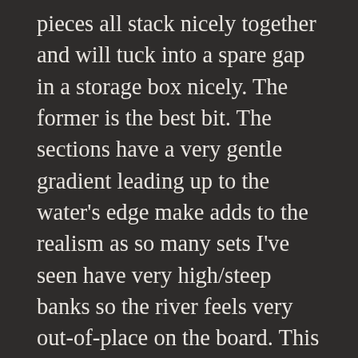pieces all stack nicely together and will tuck into a spare gap in a storage box nicely. The former is the best bit. The sections have a very gentle gradient leading up to the water's edge make adds to the realism as so many sets I've seen have very high/steep banks so the river feels very out-of-place on the board. This feels far more natural and does a much better job of suggesting water running below board level rather than on top of it. The other good thing about the shallow gradient is that you can stand toys on it.
An obvious thing to take into account when designing wargaming scenery, one might say, but you'd be surprised how many times the aesthetic of a model is put before